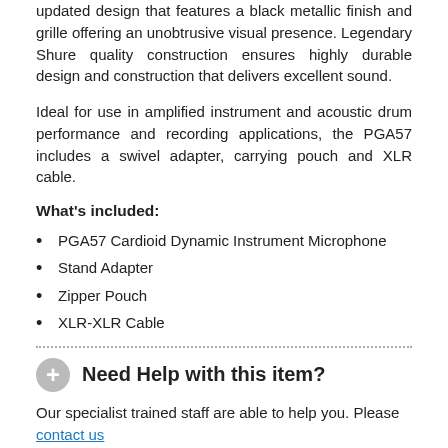updated design that features a black metallic finish and grille offering an unobtrusive visual presence. Legendary Shure quality construction ensures highly durable design and construction that delivers excellent sound.
Ideal for use in amplified instrument and acoustic drum performance and recording applications, the PGA57 includes a swivel adapter, carrying pouch and XLR cable.
What's included:
PGA57 Cardioid Dynamic Instrument Microphone
Stand Adapter
Zipper Pouch
XLR-XLR Cable
Need Help with this item?
Our specialist trained staff are able to help you. Please contact us or call us on 01628 630800
Why Buy from Dawkes Music?